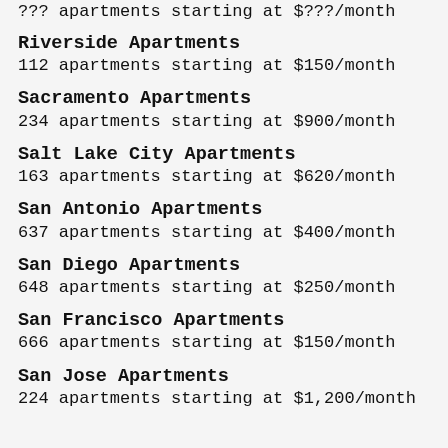??? apartments starting at $???/month
Riverside Apartments
112 apartments starting at $150/month
Sacramento Apartments
234 apartments starting at $900/month
Salt Lake City Apartments
163 apartments starting at $620/month
San Antonio Apartments
637 apartments starting at $400/month
San Diego Apartments
648 apartments starting at $250/month
San Francisco Apartments
666 apartments starting at $150/month
San Jose Apartments
224 apartments starting at $1,200/month